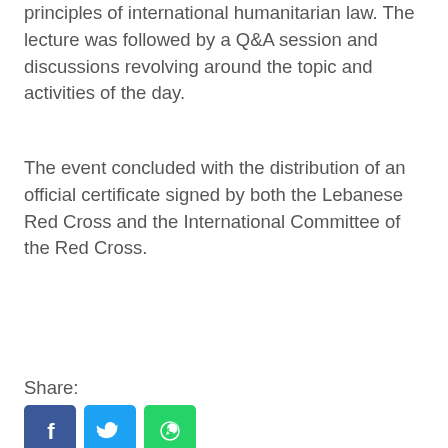principles of international humanitarian law. The lecture was followed by a Q&A session and discussions revolving around the topic and activities of the day.
The event concluded with the distribution of an official certificate signed by both the Lebanese Red Cross and the International Committee of the Red Cross.
Share:
[Figure (other): Social media sharing icons: Facebook (blue), Twitter (light blue), WhatsApp (green)]